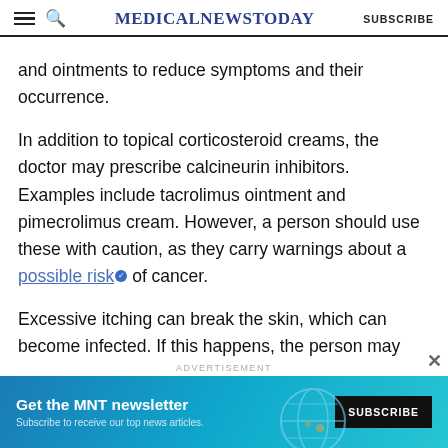MedicalNewsToday — SUBSCRIBE
and ointments to reduce symptoms and their occurrence.
In addition to topical corticosteroid creams, the doctor may prescribe calcineurin inhibitors. Examples include tacrolimus ointment and pimecrolimus cream. However, a person should use these with caution, as they carry warnings about a possible risk of cancer.
Excessive itching can break the skin, which can become infected. If this happens, the person may need to apply a prescription antibiotic cream or take an oral antibiotic.
[Figure (screenshot): Advertisement banner: Get the MNT newsletter. Subscribe to receive our top news articles. SUBSCRIBE button on dark background, teal/blue graphic background with globe illustration.]